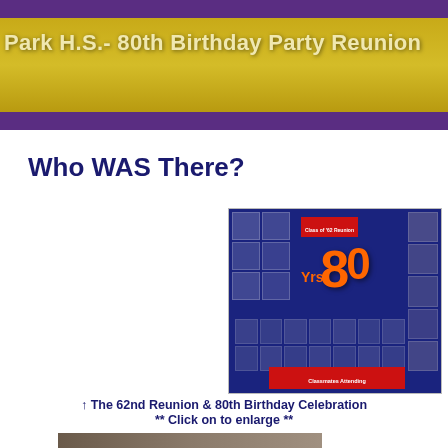Park H.S.- 80th Birthday Party Reunion
Who WAS There?
[Figure (photo): A tri-fold display board showing class reunion photos and memorabilia, featuring large orange '80' numbers on a blue background, with grid layouts of small portraits, and a red banner reading 'Classmates Attending']
↑ The 62nd Reunion & 80th Birthday Celebration
** Click on to enlarge **